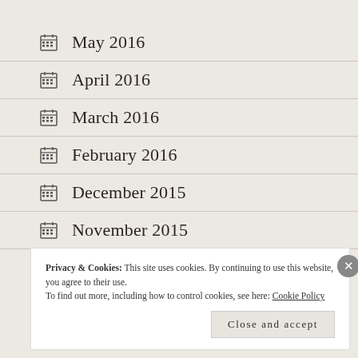May 2016
April 2016
March 2016
February 2016
December 2015
November 2015
Privacy & Cookies: This site uses cookies. By continuing to use this website, you agree to their use. To find out more, including how to control cookies, see here: Cookie Policy